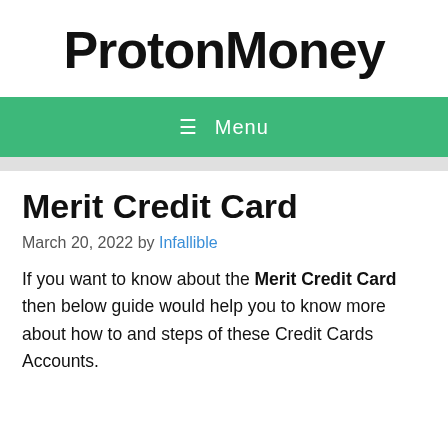ProtonMoney
☰ Menu
Merit Credit Card
March 20, 2022 by Infallible
If you want to know about the Merit Credit Card then below guide would help you to know more about how to and steps of these Credit Cards Accounts.